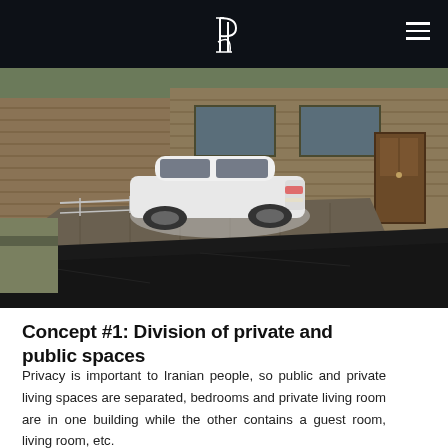[Figure (photo): Architectural rendering of a modern residential building with wood-paneled facade, a white SUV parked on a ramp/driveway, metal railings, and a wooden door visible on the right side. The building appears to be built on a slope with a dark gravel/asphalt surface in the foreground.]
Concept #1: Division of private and public spaces
Privacy is important to Iranian people, so public and private living spaces are separated, bedrooms and private living room are in one building while the other contains a guest room, living room, etc.